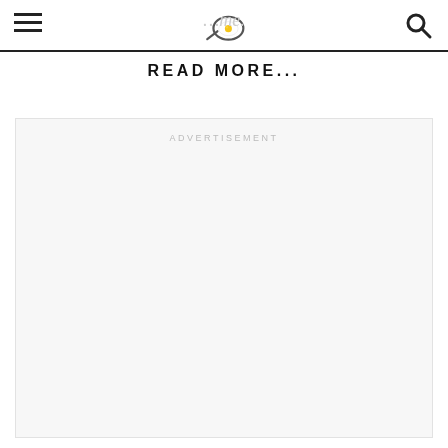READ MORE...
[Figure (other): Advertisement placeholder box with 'ADVERTISEMENT' label in light gray uppercase text on a light gray background]